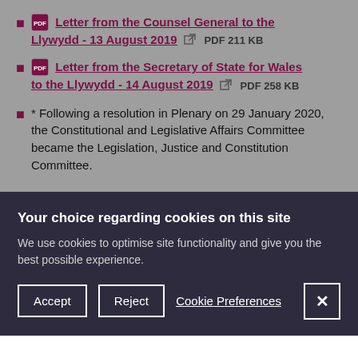Letter from the Counsel General to the Llywydd - 13 August 2019  PDF 211 KB
Letter from the Secretary of State for Wales to the Llywydd - 14 August 2019  PDF 258 KB
* Following a resolution in Plenary on 29 January 2020, the Constitutional and Legislative Affairs Committee became the Legislation, Justice and Constitution Committee.
Your choice regarding cookies on this site
We use cookies to optimise site functionality and give you the best possible experience.
Accept  Reject  Cookie Preferences  X